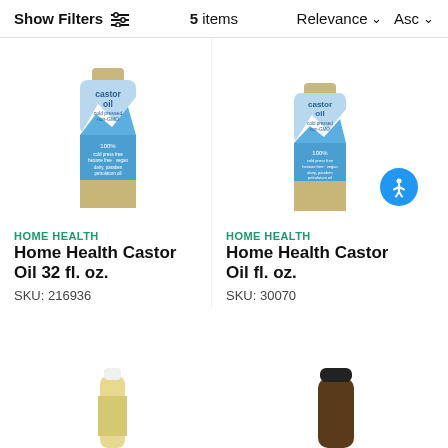Show Filters  5 items  Relevance ∨ Asc ∨
[Figure (photo): Bottle of Home Health Castor Oil, cold pressed, non-GMO, 32 fl. oz., with blue mountain label]
HOME HEALTH
Home Health Castor Oil 32 fl. oz.
SKU: 216936
[Figure (photo): Bottle of Home Health Castor Oil, cold pressed, non-GMO, with blue mountain label]
HOME HEALTH
Home Health Castor Oil fl. oz.
SKU: 30070
[Figure (photo): Small bottle with white cap, partial view at bottom left]
[Figure (photo): Dark amber bottle with black cap, partial view at bottom right]